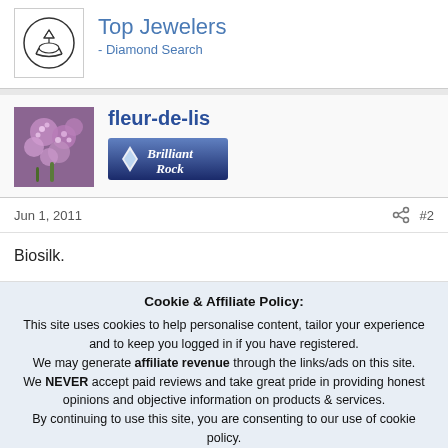[Figure (logo): Top Jewelers logo with diamond ring icon in a circle]
Top Jewelers
- Diamond Search
[Figure (photo): User avatar showing purple/pink flowers (lilac)]
fleur-de-lis
[Figure (logo): Brilliant Rock badge with diamond image]
Jun 1, 2011
#2
Biosilk.
Cookie & Affiliate Policy: This site uses cookies to help personalise content, tailor your experience and to keep you logged in if you have registered. We may generate affiliate revenue through the links/ads on this site. We NEVER accept paid reviews and take great pride in providing honest opinions and objective information on products & services. By continuing to use this site, you are consenting to our use of cookie policy.
Accept
Learn more...